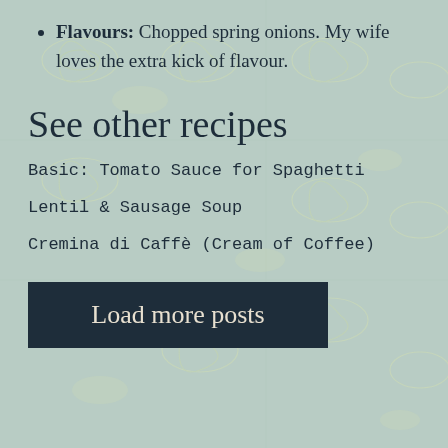Flavours: Chopped spring onions. My wife loves the extra kick of flavour.
See other recipes
Basic: Tomato Sauce for Spaghetti
Lentil & Sausage Soup
Cremina di Caffè (Cream of Coffee)
Load more posts